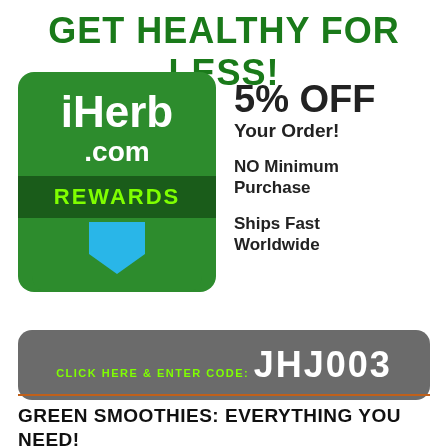Get Healthy for LESS!
[Figure (logo): iHerb.com Rewards logo: green rounded square with white text 'iHerb' and '.com', dark green REWARDS bar with green text, blue downward arrow at bottom]
5% OFF Your Order!
NO Minimum Purchase
Ships Fast Worldwide
CLICK HERE & ENTER CODE: JHJ003
GREEN SMOOTHIES: EVERYTHING YOU NEED!